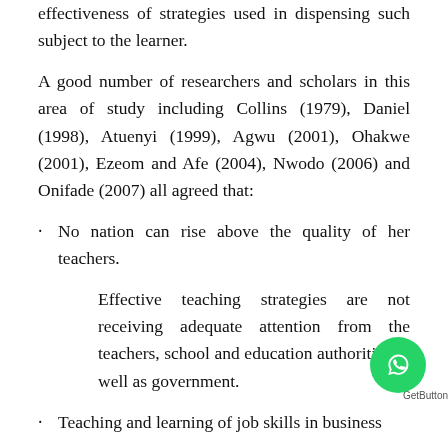effectiveness of strategies used in dispensing such subject to the learner.
A good number of researchers and scholars in this area of study including Collins (1979), Daniel (1998), Atuenyi (1999), Agwu (2001), Ohakwe (2001), Ezeom and Afe (2004), Nwodo (2006) and Onifade (2007) all agreed that:
No nation can rise above the quality of her teachers.
Effective teaching strategies are not receiving adequate attention from the teachers, school and education authorities as well as government.
Teaching and learning of job skills in business